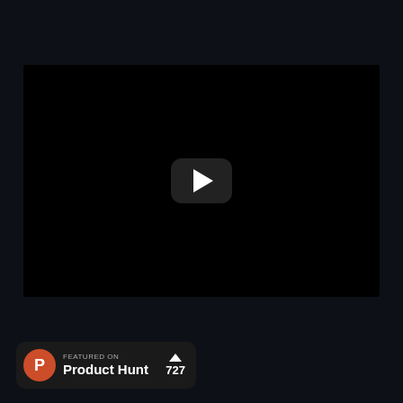[Figure (screenshot): A dark video player with a black screen and a YouTube-style play button (dark rounded rectangle with white triangle) centered on the video area. Below the video is a Product Hunt badge showing 'FEATURED ON Product Hunt' with a vote count of 727.]